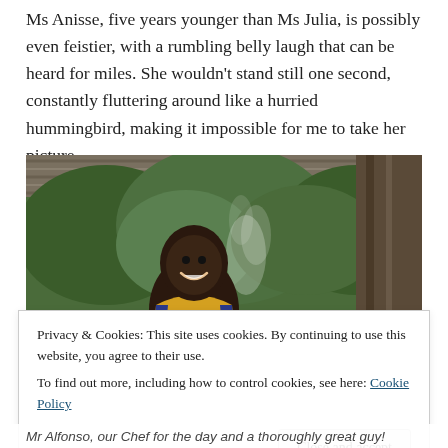Ms Anisse, five years younger than Ms Julia, is possibly even feistier, with a rumbling belly laugh that can be heard for miles. She wouldn't stand still one second, constantly fluttering around like a hurried hummingbird, making it impossible for me to take her picture…
[Figure (photo): A man in a yellow and dark blue sleeveless shirt smiles while cooking over a large pot under a corrugated metal roof, with green trees and smoke visible in the background.]
Privacy & Cookies: This site uses cookies. By continuing to use this website, you agree to their use.
To find out more, including how to control cookies, see here: Cookie Policy
Mr Alfonso, our Chef for the day and a thoroughly great guy!